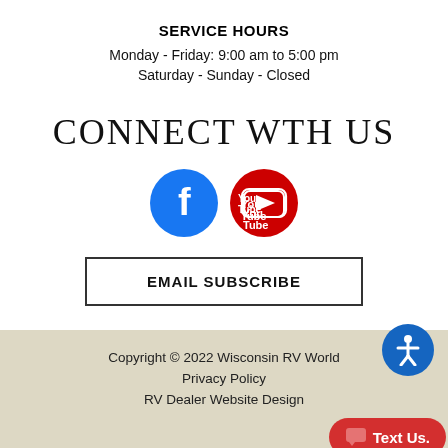SERVICE HOURS
Monday - Friday: 9:00 am to 5:00 pm
Saturday - Sunday - Closed
CONNECT WTH US
[Figure (logo): Facebook and YouTube circular social media icons]
EMAIL SUBSCRIBE
Copyright © 2022 Wisconsin RV World
Privacy Policy
RV Dealer Website Design